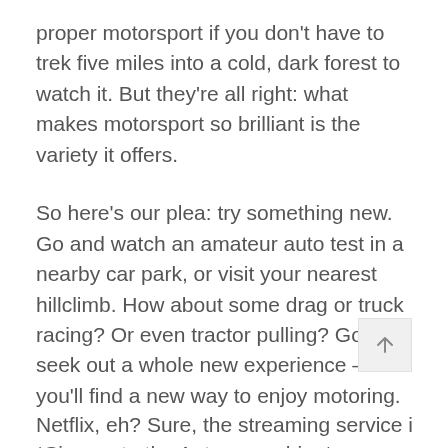proper motorsport if you don't have to trek five miles into a cold, dark forest to watch it. But they're all right: what makes motorsport so brilliant is the variety it offers.
So here's our plea: try something new. Go and watch an amateur auto test in a nearby car park, or visit your nearest hillclimb. How about some drag or truck racing? Or even tractor pulling? Go and seek out a whole new experience – and you'll find a new way to enjoy motoring.
*Sign up to the Autocar archive*
Netflix, eh? Sure, the streaming service is great